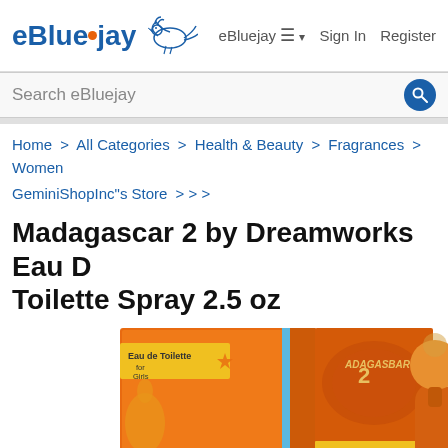eBluejay  eBluejay ≡ ▾  Sign In  Register
Search eBluejay
Home > All Categories > Health & Beauty > Fragrances > Women
GeminiShopInc"s Store > > >
Madagascar 2 by Dreamworks Eau De Toilette Spray 2.5 oz
[Figure (photo): Product photo showing Madagascar 2 Eau de Toilette for Girls orange box packaging and a bottle with orange spherical cap]